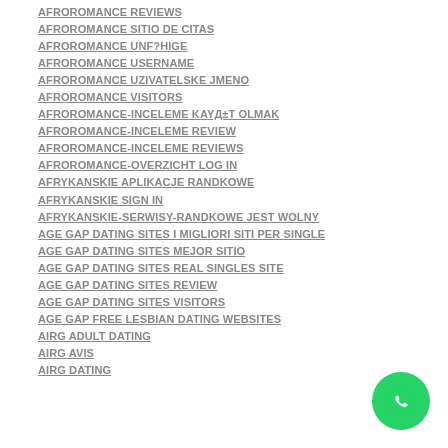AFROROMANCE REVIEWS
AFROROMANCE SITIO DE CITAS
AFROROMANCE UNF?HIGE
AFROROMANCE USERNAME
AFROROMANCE UZIVATELSKE JMENO
AFROROMANCE VISITORS
AFROROMANCE-INCELEME KAYд±T OLMAK
AFROROMANCE-INCELEME REVIEW
AFROROMANCE-INCELEME REVIEWS
AFROROMANCE-OVERZICHT LOG IN
AFRYKANSKIE APLIKACJE RANDKOWE
AFRYKANSKIE SIGN IN
AFRYKANSKIE-SERWISY-RANDKOWE JEST WOLNY
AGE GAP DATING SITES I MIGLIORI SITI PER SINGLE
AGE GAP DATING SITES MEJOR SITIO
AGE GAP DATING SITES REAL SINGLES SITE
AGE GAP DATING SITES REVIEW
AGE GAP DATING SITES VISITORS
AGE GAP FREE LESBIAN DATING WEBSITES
AIRG ADULT DATING
AIRG AVIS
AIRG DATING
[Figure (illustration): WhatsApp contact button - green circular button with white phone/WhatsApp icon]